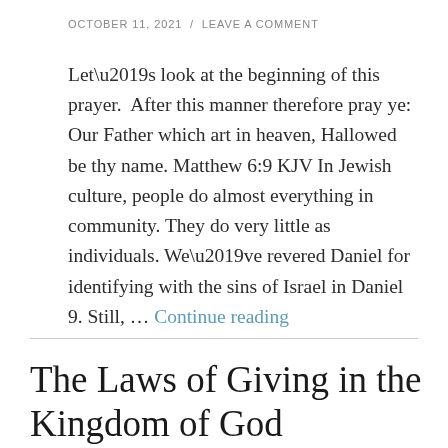OCTOBER 11, 2021  /  LEAVE A COMMENT
Let’s look at the beginning of this prayer.  After this manner therefore pray ye: Our Father which art in heaven, Hallowed be thy name. Matthew 6:9 KJV In Jewish culture, people do almost everything in community. They do very little as individuals. We’ve revered Daniel for identifying with the sins of Israel in Daniel 9. Still, … Continue reading
The Laws of Giving in the Kingdom of God